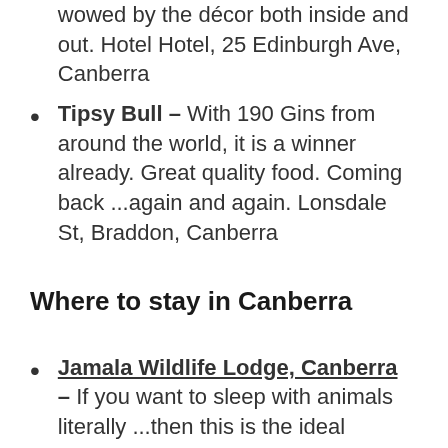wowed by the décor both inside and out. Hotel Hotel, 25 Edinburgh Ave, Canberra
Tipsy Bull – With 190 Gins from around the world, it is a winner already. Great quality food. Coming back ...again and again. Lonsdale St, Braddon, Canberra
Where to stay in Canberra
Jamala Wildlife Lodge, Canberra – If you want to sleep with animals literally ...then this is the ideal